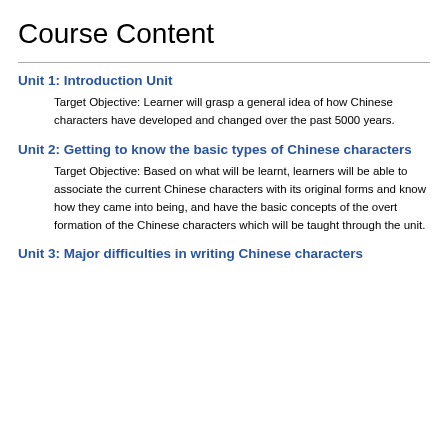Course Content
Unit 1: Introduction Unit
Target Objective: Learner will grasp a general idea of how Chinese characters have developed and changed over the past 5000 years.
Unit 2: Getting to know the basic types of Chinese characters
Target Objective: Based on what will be learnt, learners will be able to associate the current Chinese characters with its original forms and know how they came into being, and have the basic concepts of the overt formation of the Chinese characters which will be taught through the unit.
Unit 3: Major difficulties in writing Chinese characters